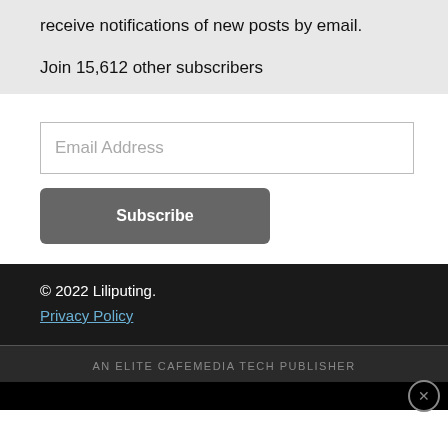receive notifications of new posts by email.
Join 15,612 other subscribers
Email Address
Subscribe
© 2022 Liliputing.
Privacy Policy
AN ELITE CAFEMEDIA TECH PUBLISHER